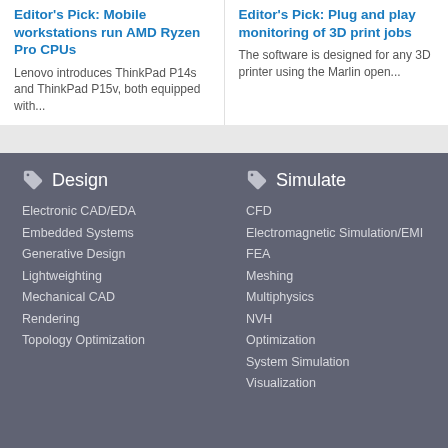Editor's Pick: Mobile workstations run AMD Ryzen Pro CPUs
Lenovo introduces ThinkPad P14s and ThinkPad P15v, both equipped with...
Editor's Pick: Plug and play monitoring of 3D print jobs
The software is designed for any 3D printer using the Marlin open...
Design
Electronic CAD/EDA
Embedded Systems
Generative Design
Lightweighting
Mechanical CAD
Rendering
Topology Optimization
Simulate
CFD
Electromagnetic Simulation/EMI
FEA
Meshing
Multiphysics
NVH
Optimization
System Simulation
Visualization